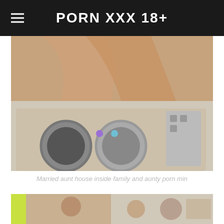PORN XXX 18+
[Figure (photo): Adult content photo showing a person on a washing machine in a laundry room setting]
Married aunt house inside family and aunty porn min
[Figure (photo): Two partial adult content thumbnail photos at the bottom of the page]